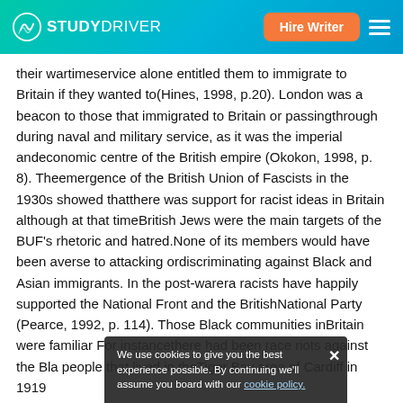STUDYDRIVER — Hire Writer
their wartimeservice alone entitled them to immigrate to Britain if they wanted to(Hines, 1998, p.20). London was a beacon to those that immigrated to Britain or passingthrough during naval and military service, as it was the imperial andeconomic centre of the British empire (Okokon, 1998, p. 8). Theemergence of the British Union of Fascists in the 1930s showed thatthere was support for racist ideas in Britain although at that timeBritish Jews were the main targets of the BUF's rhetoric and hatred.None of its members would have been averse to attacking ordiscriminating against Black and Asian immigrants. In the post-warera racists have happily supported the National Front and the BritishNational Party (Pearce, 1992, p. 114). Those Black communities inBritain were familiar... For instancethere had been race riots against the Bla... people that lived in theTiger Bay area of Cardiff in 1919
We use cookies to give you the best experience possible. By continuing we'll assume you board with our cookie policy.